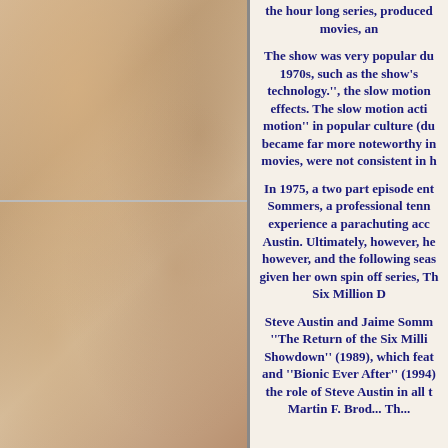[Figure (photo): Background photo of colorful toys and collectibles scattered together, used as decorative left panel background.]
the hour long series, produced movies, an
The show was very popular du 1970s, such as the show's technology.'', the slow motion effects. The slow motion acti motion'' in popular culture (du became far more noteworthy in movies, were not consistent in h
In 1975, a two part episode ent Sommers, a professional tenn experience a parachuting acc Austin. Ultimately, however, he however, and the following seas given her own spin off series, Th Six Million D
Steve Austin and Jaime Somm ''The Return of the Six Milli Showdown'' (1989), which feat and ''Bionic Ever After'' (1994) the role of Steve Austin in all t Martin F. Brod... Th...